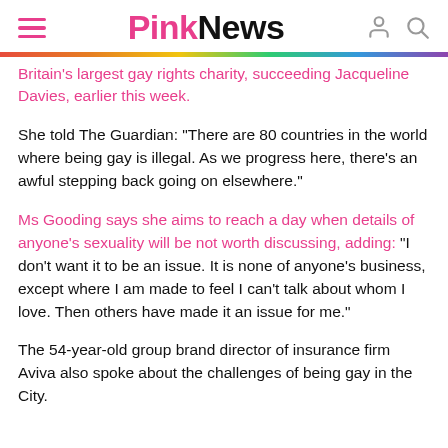PinkNews
Britain's largest gay rights charity, succeeding Jacqueline Davies, earlier this week.
She told The Guardian: “There are 80 countries in the world where being gay is illegal. As we progress here, there’s an awful stepping back going on elsewhere.”
Ms Gooding says she aims to reach a day when details of anyone’s sexuality will be not worth discussing, adding: “I don’t want it to be an issue. It is none of anyone’s business, except where I am made to feel I can’t talk about whom I love. Then others have made it an issue for me.”
The 54-year-old group brand director of insurance firm Aviva also spoke about the challenges of being gay in the City.